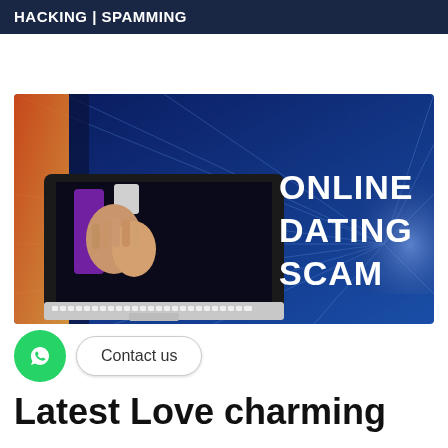HACKING | SPAMMING
[Figure (illustration): Promotional image showing a laptop with two hands holding each other on screen, orange and blue background, bold white text reading ONLINE DATING SCAM]
Contact us
Latest Love charming